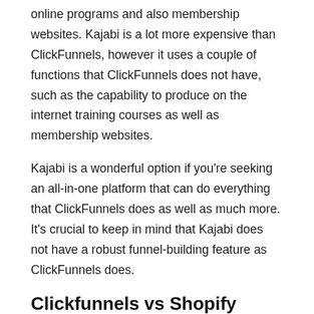online programs and also membership websites. Kajabi is a lot more expensive than ClickFunnels, however it uses a couple of functions that ClickFunnels does not have, such as the capability to produce on the internet training courses as well as membership websites.
Kajabi is a wonderful option if you're seeking an all-in-one platform that can do everything that ClickFunnels does as well as much more. It's crucial to keep in mind that Kajabi does not have a robust funnel-building feature as ClickFunnels does.
Clickfunnels vs Shopify
Shopify is a preferred eCommerce solution that's